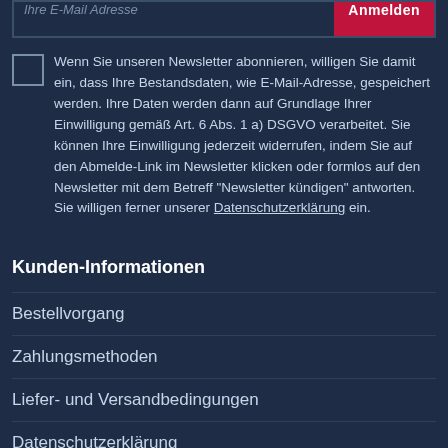Ihre E-Mail Adresse | Anmelden
Wenn Sie unseren Newsletter abonnieren, willigen Sie damit ein, dass Ihre Bestandsdaten, wie E-Mail-Adresse, gespeichert werden. Ihre Daten werden dann auf Grundlage Ihrer Einwilligung gemäß Art. 6 Abs. 1 a) DSGVO verarbeitet. Sie können Ihre Einwilligung jederzeit widerrufen, indem Sie auf den Abmelde-Link im Newsletter klicken oder formlos auf den Newsletter mit dem Betreff "Newsletter kündigen" antworten. Sie willigen ferner unserer Datenschutzerklärung ein.
Kunden-Informationen
Bestellvorgang
Zahlungsmethoden
Liefer- und Versandbedingungen
Datenschutzerklärung
Widerrufsbelehrung